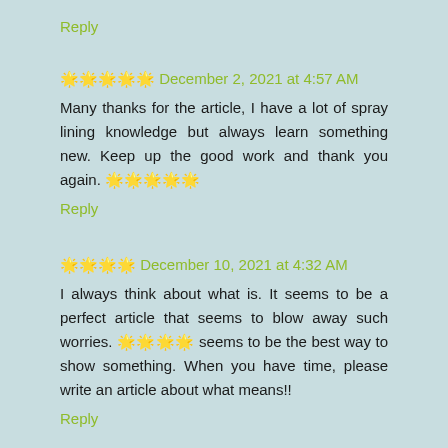Reply
🌟🌟🌟🌟🌟 December 2, 2021 at 4:57 AM
Many thanks for the article, I have a lot of spray lining knowledge but always learn something new. Keep up the good work and thank you again. 🌟🌟🌟🌟🌟
Reply
🌟🌟🌟🌟 December 10, 2021 at 4:32 AM
I always think about what is. It seems to be a perfect article that seems to blow away such worries. 🌟🌟🌟🌟 seems to be the best way to show something. When you have time, please write an article about what means!!
Reply
🌟🌟🌟🌟🌟 December 10, 2021 at 4:33 AM